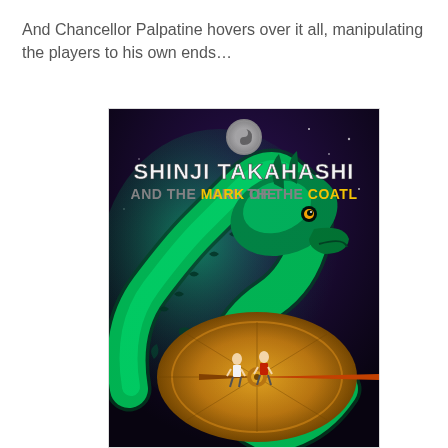And Chancellor Palpatine hovers over it all, manipulating the players to his own ends…
[Figure (illustration): Book cover of 'Shinji Takahashi and the Mark of the Coatl' showing a large glowing green serpent/dragon creature looming over two children standing on a large golden compass or sundial, set against a dark purple/black starry sky background. A circular silver yin-yang style logo appears at the top of the cover.]